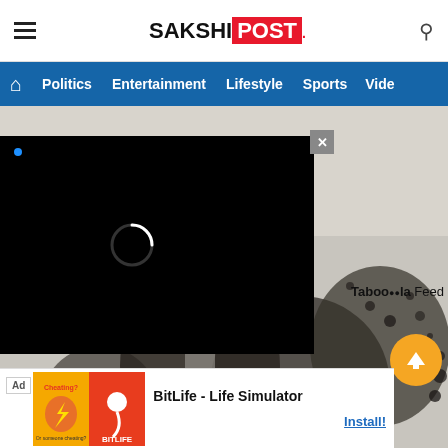SakshiPost - hamburger menu, logo, search icon
Navigation: Home | Politics | Entertainment | Lifestyle | Sports | Vide...
[Figure (screenshot): A dark video player overlay on a black background with a loading spinner circle and a small blue dot in the top-left corner. Behind it is a photo of a wall heavily covered in black mold/mildew.]
Taboola Feed
[Figure (other): Scroll-to-top yellow circular button with upward arrow]
[Figure (other): Advertisement: BitLife - Life Simulator app ad with Install button]